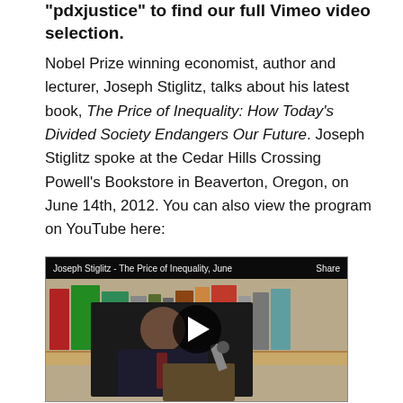"pdxjustice" to find our full Vimeo video selection.
Nobel Prize winning economist, author and lecturer, Joseph Stiglitz, talks about his latest book, The Price of Inequality: How Today's Divided Society Endangers Our Future. Joseph Stiglitz spoke at the Cedar Hills Crossing Powell's Bookstore in Beaverton, Oregon, on June 14th, 2012. You can also view the program on YouTube here:
[Figure (screenshot): Video thumbnail showing Joseph Stiglitz speaking at a podium in a bookstore, with a play button overlay. Video bar at top reads 'Joseph Stiglitz - The Price of Inequality, June' and 'Share'.]